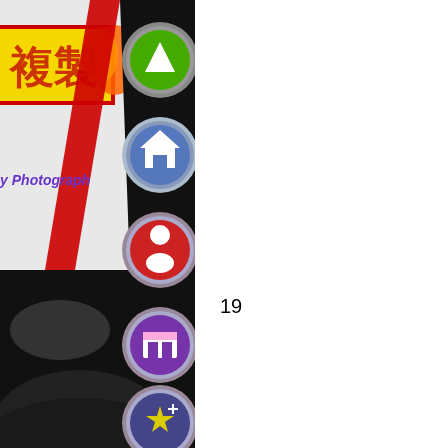[Figure (screenshot): Screenshot of a website or app interface showing Chinese characters '複製' on a yellow-background banner with red/flame decorations, a red diagonal slash element, text 'By Photographer' in blue/purple, and a vertical column of circular navigation buttons on the right side: a green play/up button, a home button, a red person/user button, a purple store button, and a yellow star/favorite button. The lower half shows a dark background with a person's head visible.]
19